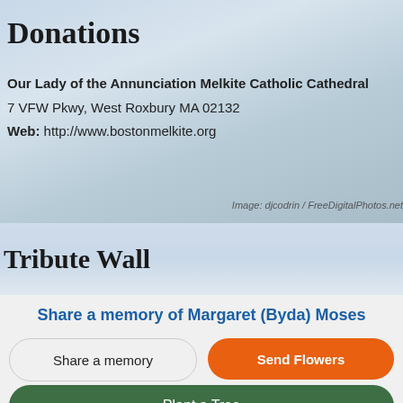Donations
Our Lady of the Annunciation Melkite Catholic Cathedral
7 VFW Pkwy, West Roxbury MA 02132
Web: http://www.bostonmelkite.org
Image: djcodrin / FreeDigitalPhotos.net
Tribute Wall
Share a memory of Margaret (Byda) Moses
Share a memory
Send Flowers
Plant a Tree